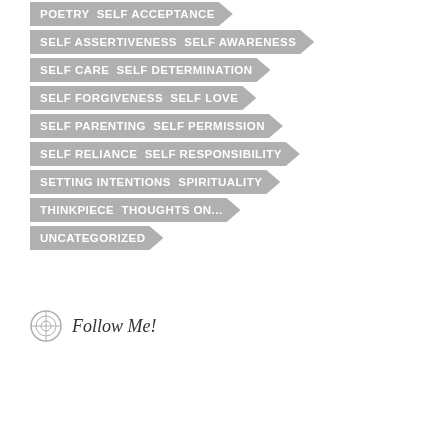POETRY  SELF ACCEPTANCE
SELF ASSERTIVENESS  SELF AWARENESS
SELF CARE  SELF DETERMINATION
SELF FORGIVENESS  SELF LOVE
SELF PARENTING  SELF PERMISSION
SELF RELIANCE  SELF RESPONSIBILITY
SETTING INTENTIONS  SPIRITUALITY
THINKPIECE  THOUGHTS ON...
UNCATEGORIZED
Follow Me!